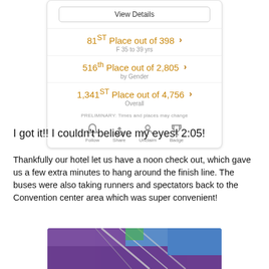[Figure (screenshot): App screenshot showing race results: 81st Place out of 398 (F 35 to 39 yrs), 516th Place out of 2,805 (by Gender), 1,341st Place out of 4,756 (Overall). PRELIMINARY: Times and places may change. Icons: Follow, Share, Unclaim, Badge.]
I got it!! I couldn't believe my eyes! 2:05!
Thankfully our hotel let us have a noon check out, which gave us a few extra minutes to hang around the finish line. The buses were also taking runners and spectators back to the Convention center area which was super convenient!
[Figure (photo): Partial photo of a race finish line area with purple and blue decorations/banners.]